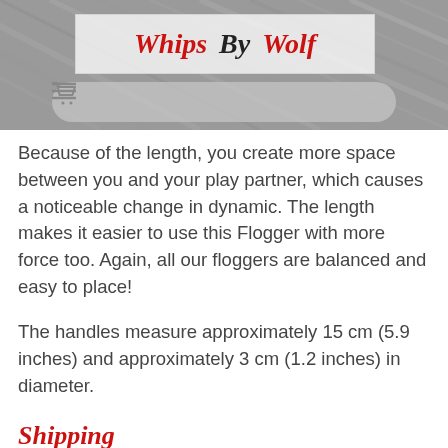Whips By Wolf
Because of the length, you create more space between you and your play partner, which causes a noticeable change in dynamic. The length makes it easier to use this Flogger with more force too. Again, all our floggers are balanced and easy to place!
The handles measure approximately 15 cm (5.9 inches) and approximately 3 cm (1.2 inches) in diameter.
Shipping
We ship your order within 3 business after production has been finished, and the